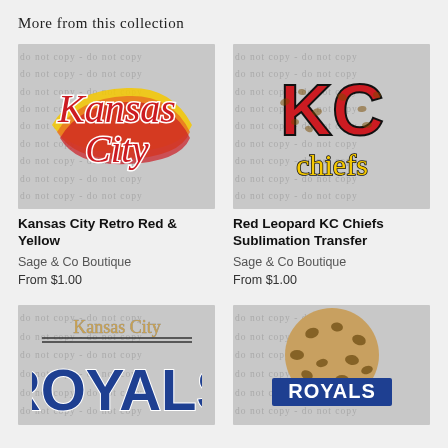More from this collection
[Figure (illustration): Kansas City Retro Red & Yellow sublimation transfer design on watermarked background]
Kansas City Retro Red & Yellow
Sage & Co Boutique
From $1.00
[Figure (illustration): Red Leopard KC Chiefs sublimation transfer design on watermarked background]
Red Leopard KC Chiefs Sublimation Transfer
Sage & Co Boutique
From $1.00
[Figure (illustration): Kansas City Royals blue text design on watermarked background]
[Figure (illustration): Royals leopard print ball design on watermarked background]